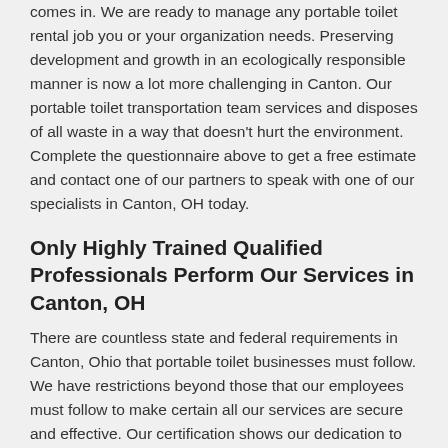comes in. We are ready to manage any portable toilet rental job you or your organization needs. Preserving development and growth in an ecologically responsible manner is now a lot more challenging in Canton. Our portable toilet transportation team services and disposes of all waste in a way that doesn't hurt the environment. Complete the questionnaire above to get a free estimate and contact one of our partners to speak with one of our specialists in Canton, OH today.
Only Highly Trained Qualified Professionals Perform Our Services in Canton, OH
There are countless state and federal requirements in Canton, Ohio that portable toilet businesses must follow. We have restrictions beyond those that our employees must follow to make certain all our services are secure and effective. Our certification shows our dedication to providing high quality porta potty rental and environmental disposable solutions that surpass customer expectations. All our staff at Porta Potty Pros are highly trained with a model before giving...